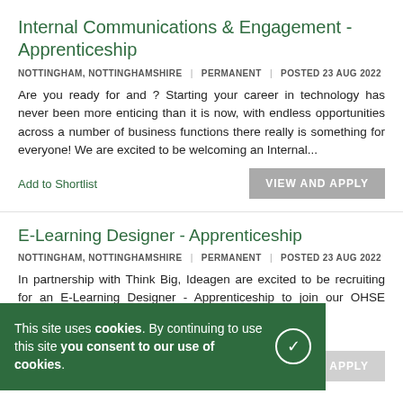Internal Communications & Engagement - Apprenticeship
NOTTINGHAM, NOTTINGHAMSHIRE | PERMANENT | POSTED 23 AUG 2022
Are you ready for and ? Starting your career in technology has never been more enticing than it is now, with endless opportunities across a number of business functions there really is something for everyone! We are excited to be welcoming an Internal...
Add to Shortlist
E-Learning Designer - Apprenticeship
NOTTINGHAM, NOTTINGHAMSHIRE | PERMANENT | POSTED 23 AUG 2022
In partnership with Think Big, Ideagen are excited to be recruiting for an E-Learning Designer - Apprenticeship to join our OHSE Product... The App...
Add to Shortlist
This site uses cookies. By continuing to use this site you consent to our use of cookies.